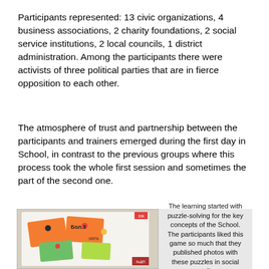Participants represented: 13 civic organizations, 4 business associations, 2 charity foundations, 2 social service institutions, 2 local councils, 1 district administration. Among the participants there were activists of three political parties that are in fierce opposition to each other.
The atmosphere of trust and partnership between the participants and trainers emerged during the first day in School, in contrast to the previous groups where this process took the whole first session and sometimes the part of the second one.
[Figure (photo): Photo of a whiteboard with colorful paper cards (orange, green, yellow) attached with magnets, containing handwritten text. Appears to be a puzzle-solving activity at a school or training session.]
The learning started with puzzle-solving for the key concepts of the School. The participants liked this game so much that they published photos with these puzzles in social media.